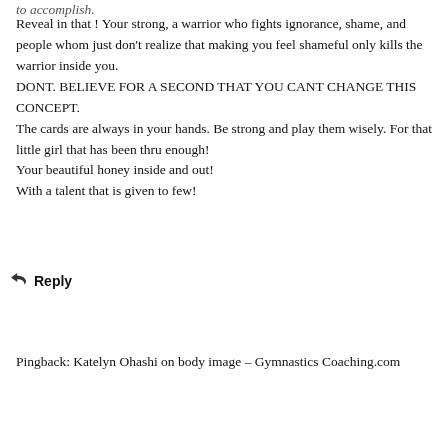to accomplish.
Reveal in that ! Your strong, a warrior who fights ignorance, shame, and people whom just don't realize that making you feel shameful only kills the warrior inside you.
DONT. BELIEVE FOR A SECOND THAT YOU CANT CHANGE THIS CONCEPT.
The cards are always in your hands. Be strong and play them wisely. For that little girl that has been thru enough!
Your beautiful honey inside and out!
With a talent that is given to few!
Reply
Pingback: Katelyn Ohashi on body image – Gymnastics Coaching.com